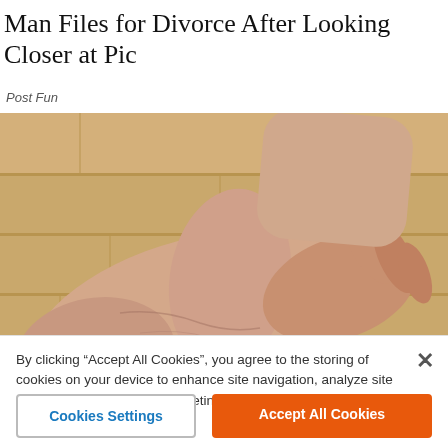Man Files for Divorce After Looking Closer at Pic
Post Fun
[Figure (photo): Close-up photograph of an elderly person's foot and ankle being held by a hand, resting on a wooden floor background.]
By clicking “Accept All Cookies”, you agree to the storing of cookies on your device to enhance site navigation, analyze site usage, and assist in our marketing efforts.
Cookies Settings
Accept All Cookies